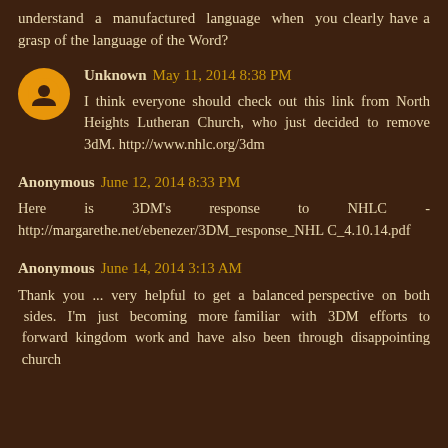understand a manufactured language when you clearly have a grasp of the language of the Word?
Unknown May 11, 2014 8:38 PM
I think everyone should check out this link from North Heights Lutheran Church, who just decided to remove 3dM. http://www.nhlc.org/3dm
Anonymous June 12, 2014 8:33 PM
Here is 3DM's response to NHLC - http://margarethe.net/ebenezer/3DM_response_NHLC_4.10.14.pdf
Anonymous June 14, 2014 3:13 AM
Thank you ... very helpful to get a balanced perspective on both sides. I'm just becoming more familiar with 3DM efforts to forward kingdom work and have also been through disappointing church